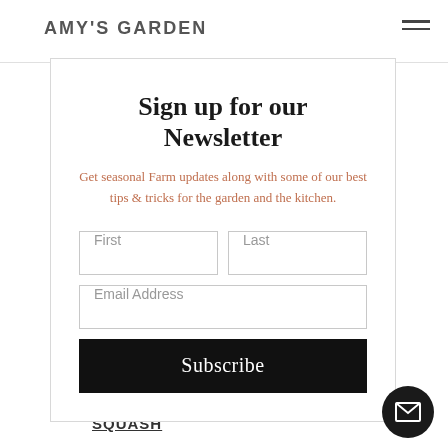AMY'S GARDEN
Sign up for our Newsletter
Get seasonal Farm updates along with some of our best tips & tricks for the garden and the kitchen.
First
Last
Email Address
Subscribe
SUMMER SQUASH